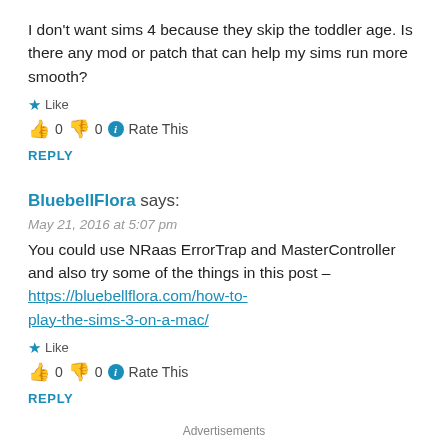I don't want sims 4 because they skip the toddler age. Is there any mod or patch that can help my sims run more smooth?
★ Like
👍 0 👎 0 ℹ Rate This
REPLY
BluebellFlora says:
May 21, 2016 at 5:07 pm
You could use NRaas ErrorTrap and MasterController and also try some of the things in this post – https://bluebellflora.com/how-to-play-the-sims-3-on-a-mac/
★ Like
👍 0 👎 0 ℹ Rate This
REPLY
Advertisements